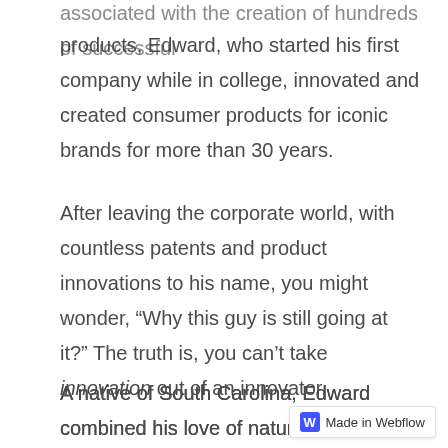associated with the creation of hundreds of successful products, Edward, who started his first company while in college, innovated and created consumer products for iconic brands for more than 30 years.
After leaving the corporate world, with countless patents and product innovations to his name, you might wonder, “Why this guy is still going at it?” The truth is, you can’t take innovation out of an innovator.
A native of South Carolina, Edward combined his love of nature and God’s creations with the inherent desire to